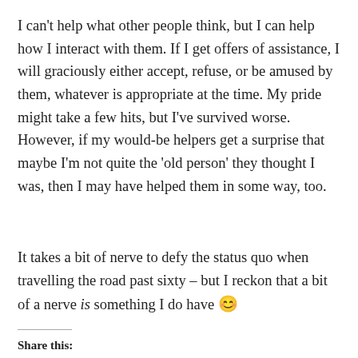I can't help what other people think, but I can help how I interact with them. If I get offers of assistance, I will graciously either accept, refuse, or be amused by them, whatever is appropriate at the time. My pride might take a few hits, but I've survived worse. However, if my would-be helpers get a surprise that maybe I'm not quite the 'old person' they thought I was, then I may have helped them in some way, too.
It takes a bit of nerve to defy the status quo when travelling the road past sixty – but I reckon that a bit of a nerve is something I do have 😊
Share this: